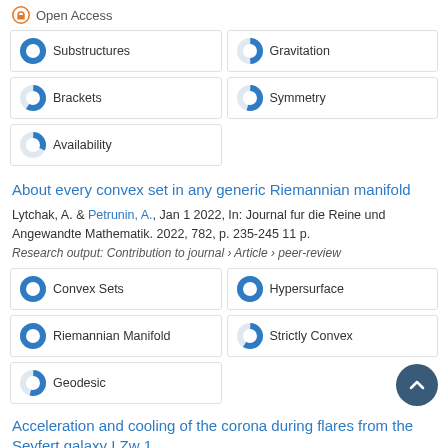Open Access
Substructures
Gravitation
Brackets
Symmetry
Availability
About every convex set in any generic Riemannian manifold
Lytchak, A. & Petrunin, A., Jan 1 2022, In: Journal fur die Reine und Angewandte Mathematik. 2022, 782, p. 235-245 11 p.
Research output: Contribution to journal › Article › peer-review
Convex Sets
Hypersurface
Riemannian Manifold
Strictly Convex
Geodesic
Acceleration and cooling of the corona during flares from the Seyfert galaxy I Zw 1